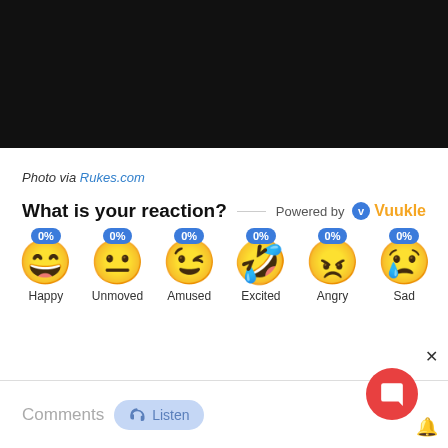[Figure (photo): Black rectangle image placeholder at top of page]
Photo via Rukes.com
What is your reaction?  Powered by Vuukle
[Figure (infographic): Six emoji reaction buttons: Happy 0%, Unmoved 0%, Amused 0%, Excited 0%, Angry 0%, Sad 0%]
Comments  Listen